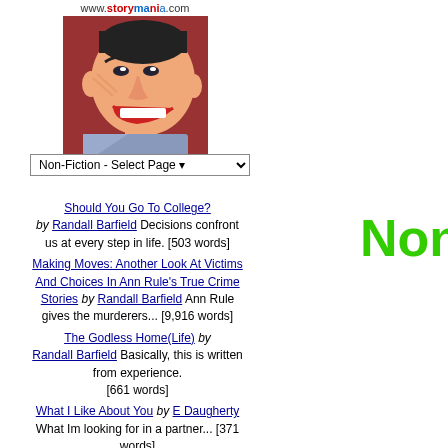[Figure (logo): Storymania.com logo with cartoon smiling face illustration and URL www.storymania.com text above]
Non-Fiction - Select Page
Should You Go To College? by Randall Barfield Decisions confront us at every step in life. [503 words]
Making Moves: Another Look At Victims And Choices In Ann Rule's True Crime Stories by Randall Barfield Ann Rule gives the murderers... [9,916 words]
The Godless Home(Life) by Randall Barfield Basically, this is written from experience. [661 words]
What I Like About You by E Daugherty What Im looking for in a partner... [371 words]
On Health Matters Including
Non-
TITLE (EDIT)
No More Stalling: Shellbell's
DESCRIPTION
Six months after my first flight in a the same plane with the same ins [2,049 words]
TITLE KEYWORD
Adventure
AUTHOR
Shelley J Alongi
ABOUT THE AUTHOR
My name is Shelley, AKA the Que musician and put out writing as th prompt thing. When the spirit mo with the help of my star team, I ha book of poetry and one story in th (2015), Brave Pilot (2017) and